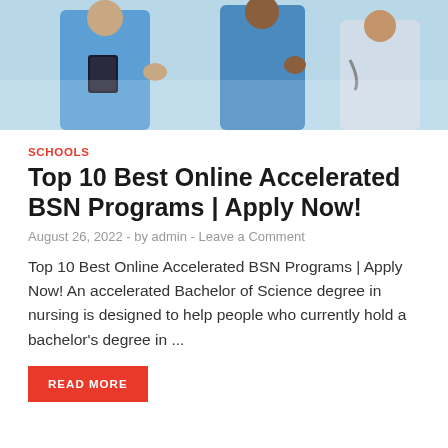[Figure (photo): Healthcare workers in blue scrubs, one holding a tablet/clipboard, in a medical setting]
SCHOOLS
Top 10 Best Online Accelerated BSN Programs | Apply Now!
August 26, 2022  -  by admin  -  Leave a Comment
Top 10 Best Online Accelerated BSN Programs | Apply Now! An accelerated Bachelor of Science degree in nursing is designed to help people who currently hold a bachelor's degree in ...
READ MORE